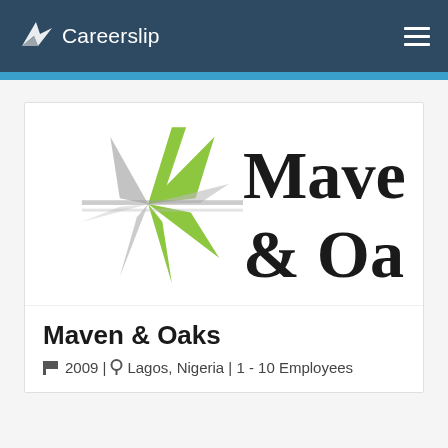Careerslip
[Figure (logo): Maven & Oaks company logo — green and grey star-burst / asterisk symbol on left, bold serif text 'Maven & Oaks' on right, partially cropped]
Maven & Oaks
2009 | Lagos, Nigeria | 1 - 10 Employees